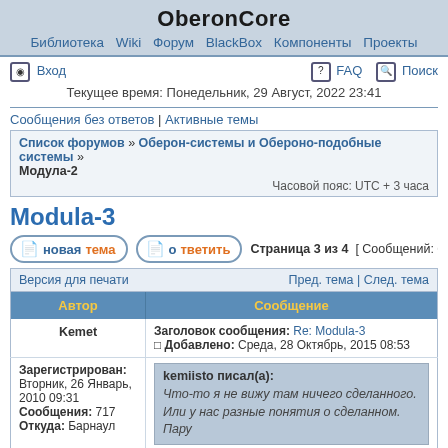OberonCore
Библиотека Wiki Форум BlackBox Компоненты Проекты
Вход | FAQ | Поиск
Текущее время: Понедельник, 29 Август, 2022 23:41
Сообщения без ответов | Активные темы
Список форумов » Оберон-системы и Обероно-подобные системы » Модула-2 | Часовой пояс: UTC + 3 часа
Modula-3
новая тема | ответить | Страница 3 из 4 [ Сообщений: 61 ] На стр…
| Версия для печати | Пред. тема | След. тема |
| --- | --- |
| Автор | Сообщение |
| Kemet | Заголовок сообщения: Re: Modula-3
Добавлено: Среда, 28 Октябрь, 2015 08:53 |
| Зарегистрирован: Вторник, 26 Январь, 2010 09:31
Сообщения: 717
Откуда: Барнаул | kemiisto писал(а):
Что-то я не вижу там ничего сделанного. Или у нас разные понятия о сделанном. Пару... |